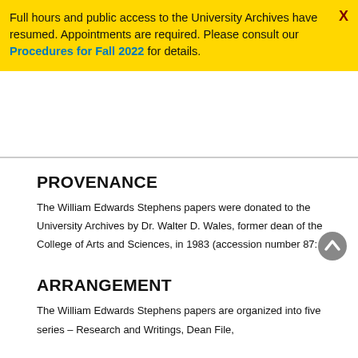Full hours and public access to the University Archives have resumed. Appointments are required. Please consult our Procedures for Fall 2022 for details.
PROVENANCE
The William Edwards Stephens papers were donated to the University Archives by Dr. Walter D. Wales, former dean of the College of Arts and Sciences, in 1983 (accession number 87: 22).
ARRANGEMENT
The William Edwards Stephens papers are organized into five series – Research and Writings, Dean File,